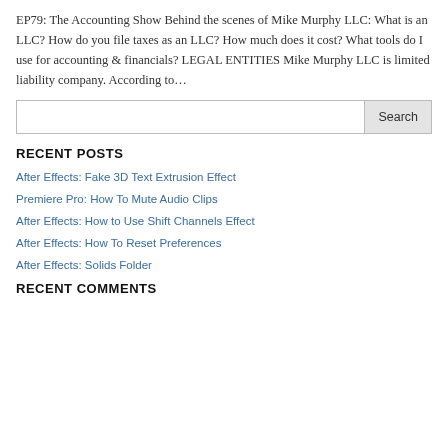EP79: The Accounting Show Behind the scenes of Mike Murphy LLC: What is an LLC? How do you file taxes as an LLC? How much does it cost? What tools do I use for accounting & financials? LEGAL ENTITIES Mike Murphy LLC is limited liability company. According to…
RECENT POSTS
After Effects: Fake 3D Text Extrusion Effect
Premiere Pro: How To Mute Audio Clips
After Effects: How to Use Shift Channels Effect
After Effects: How To Reset Preferences
After Effects: Solids Folder
RECENT COMMENTS